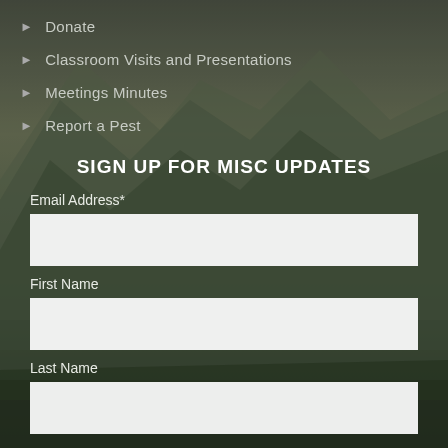[Figure (photo): Background photo of green mountain ridges with misty atmosphere]
Donate
Classroom Visits and Presentations
Meetings Minutes
Report a Pest
SIGN UP FOR MISC UPDATES
Email Address*
First Name
Last Name